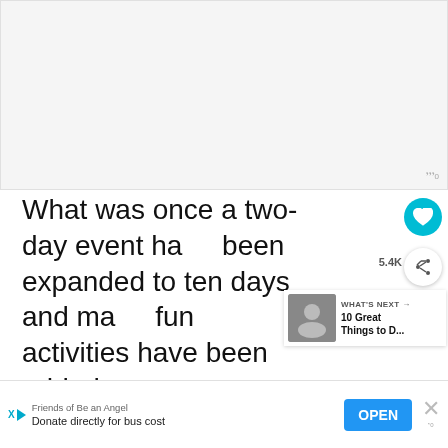[Figure (photo): Large image placeholder area at top of page, light gray background]
What was once a two-day event has been expanded to ten days and many fun activities have been added including a kick-off party, a W... Funland for kids, a farmer's market, an... to...he
[Figure (infographic): WHAT'S NEXT panel with thumbnail image and text '10 Great Things to D...']
Friends of Be an Angel
Donate directly for bus cost